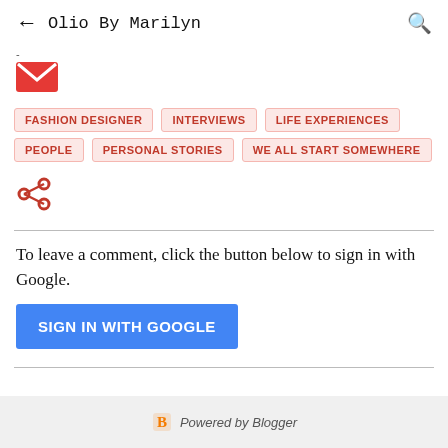← Olio By Marilyn 🔍
[Figure (other): Red email/envelope icon with white V-shape]
FASHION DESIGNER
INTERVIEWS
LIFE EXPERIENCES
PEOPLE
PERSONAL STORIES
WE ALL START SOMEWHERE
[Figure (other): Share icon (red)]
To leave a comment, click the button below to sign in with Google.
SIGN IN WITH GOOGLE
Powered by Blogger